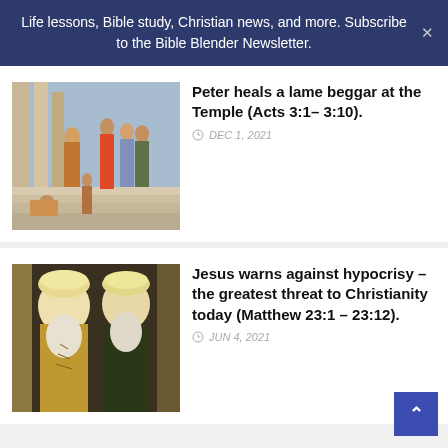Life lessons, Bible study, Christian news, and more. Subscribe to the Bible Blender Newsletter.
[Figure (illustration): Classical painting of Peter healing a lame beggar at the Temple steps, with robed figures gathered around]
Peter heals a lame beggar at the Temple (Acts 3:1– 3:10).
DEC 1, 2021
[Figure (illustration): Classical painting of two elderly bearded men wearing ornate robes and turbans, resembling Pharisees or religious leaders]
Jesus warns against hypocrisy – the greatest threat to Christianity today (Matthew 23:1 – 23:12).
JUN 4, 2021